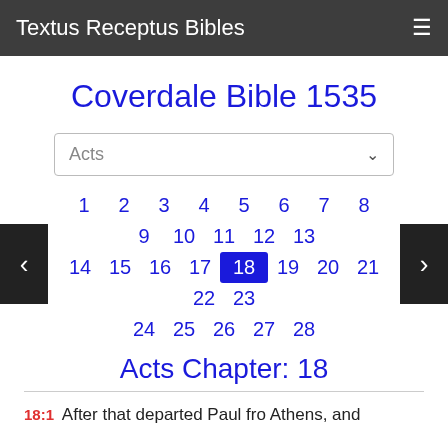Textus Receptus Bibles
Coverdale Bible 1535
Acts (dropdown selector)
1 2 3 4 5 6 7 8 9 10 11 12 13 14 15 16 17 18 19 20 21 22 23 24 25 26 27 28
Acts Chapter: 18
18:1 After that departed Paul fro Athens, and